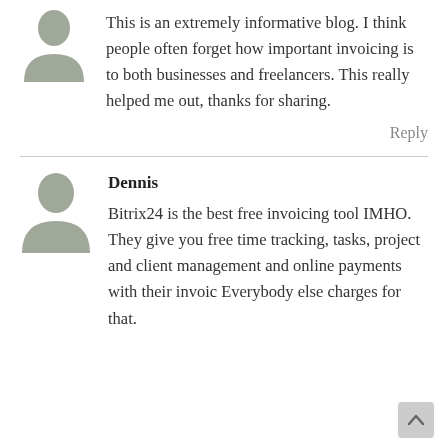[Figure (illustration): Generic user avatar icon (gray silhouette of a person) for first commenter]
This is an extremely informative blog. I think people often forget how important invoicing is to both businesses and freelancers. This really helped me out, thanks for sharing.
Reply
[Figure (illustration): Generic user avatar icon (gray silhouette of a person) for Dennis]
Dennis
Bitrix24 is the best free invoicing tool IMHO. They give you free time tracking, tasks, project and client management and online payments with their invoic Everybody else charges for that.